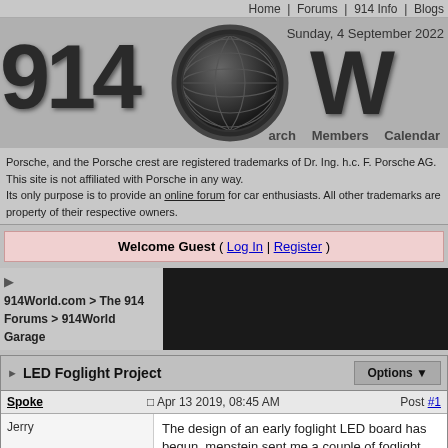Home | Forums | 914 Info | Blogs
[Figure (logo): 914World.com website logo with globe graphic and dark stylized text '914W' with date 'Sunday, 4 September 2022' and sub-navigation: arch, Members, Calendar]
Porsche, and the Porsche crest are registered trademarks of Dr. Ing. h.c. F. Porsche AG. This site is not affiliated with Porsche in any way. Its only purpose is to provide an online forum for car enthusiasts. All other trademarks are property of their respective owners.
Welcome Guest ( Log In | Register )
914World.com > The 914 Forums > 914World Garage
| LED Foglight Project | Options |
| --- | --- |
| Spoke | Apr 13 2019, 08:45 AM | Post #1 |
| Jerry | The design of an early foglight LED board has begun. mepstein sent me a couple of foglight |  |